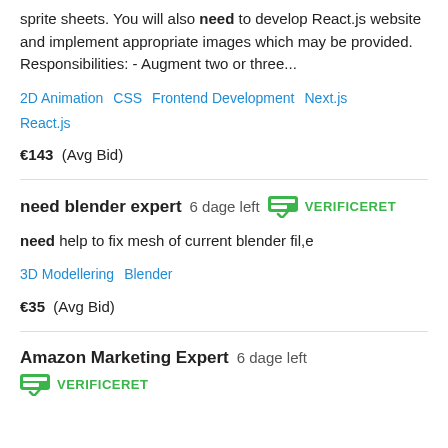sprite sheets. You will also need to develop React.js website and implement appropriate images which may be provided. Responsibilities: - Augment two or three...
2D Animation   CSS   Frontend Development   Next.js   React.js
€143  (Avg Bid)
need blender expert  6 dage left  VERIFICERET
need help to fix mesh of current blender fil,e
3D Modellering   Blender
€35  (Avg Bid)
Amazon Marketing Expert  6 dage left  VERIFICERET